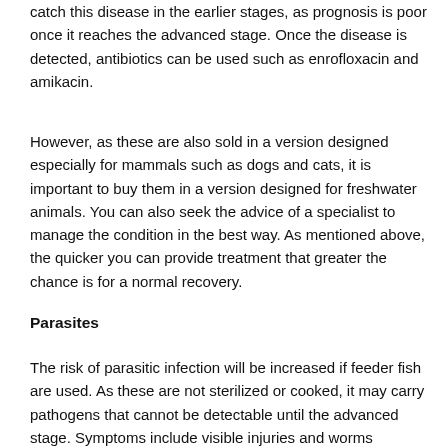catch this disease in the earlier stages, as prognosis is poor once it reaches the advanced stage. Once the disease is detected, antibiotics can be used such as enrofloxacin and amikacin.
However, as these are also sold in a version designed especially for mammals such as dogs and cats, it is important to buy them in a version designed for freshwater animals. You can also seek the advice of a specialist to manage the condition in the best way. As mentioned above, the quicker you can provide treatment that greater the chance is for a normal recovery.
Parasites
The risk of parasitic infection will be increased if feeder fish are used. As these are not sterilized or cooked, it may carry pathogens that cannot be detectable until the advanced stage. Symptoms include visible injuries and worms